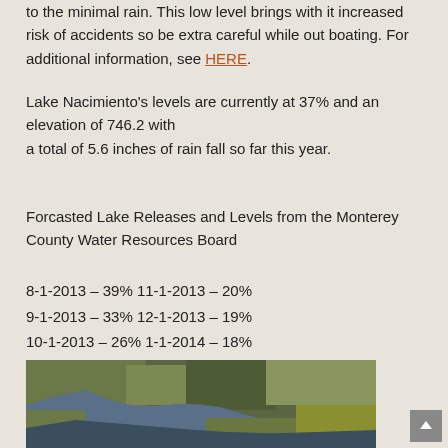to the minimal rain. This low level brings with it increased risk of accidents so be extra careful while out boating. For additional information, see HERE.
Lake Nacimiento's levels are currently at 37% and an elevation of 746.2 with a total of 5.6 inches of rain fall so far this year.
Forcasted Lake Releases and Levels from the Monterey County Water Resources Board
8-1-2013 – 39% 11-1-2013 – 20%
9-1-2013 – 33% 12-1-2013 – 19%
10-1-2013 – 26% 1-1-2014 – 18%
[Figure (photo): Aerial photograph of Lake Nacimiento showing low water levels with exposed land areas and a narrow water channel winding through green/brown terrain.]